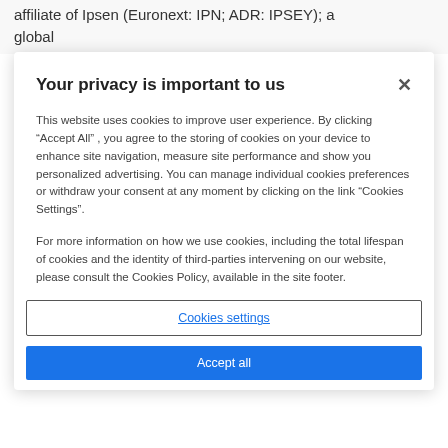affiliate of Ipsen (Euronext: IPN; ADR: IPSEY); a global
Your privacy is important to us
This website uses cookies to improve user experience. By clicking “Accept All” , you agree to the storing of cookies on your device to enhance site navigation, measure site performance and show you personalized advertising. You can manage individual cookies preferences or withdraw your consent at any moment by clicking on the link “Cookies Settings”.
For more information on how we use cookies, including the total lifespan of cookies and the identity of third-parties intervening on our website, please consult the Cookies Policy, available in the site footer.
Cookies settings
Accept all